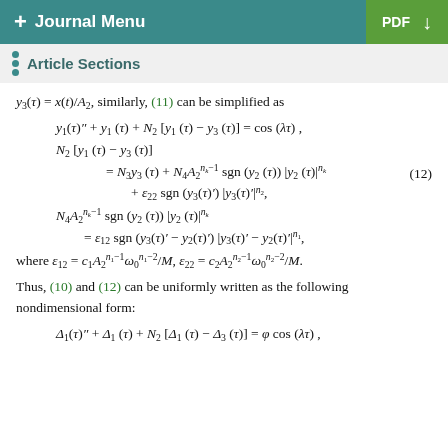+ Journal Menu   PDF ↓
Article Sections
y₃(τ) = x(t)/A₂, similarly, (11) can be simplified as
where ε₁₂ = c₁A₂^{n₁−1}ω₀^{n₁−2}/M, ε₂₂ = c₂A₂^{n₂−1}ω₀^{n₂−2}/M.
Thus, (10) and (12) can be uniformly written as the following nondimensional form: